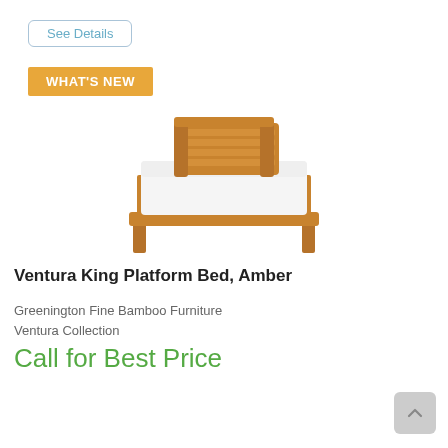See Details
WHAT'S NEW
[Figure (photo): Product photo of the Ventura King Platform Bed in Amber color — a wooden platform bed with horizontal slat headboard in warm amber/walnut bamboo finish, white mattress/bedding, front-facing view on white background]
Ventura King Platform Bed, Amber
Greenington Fine Bamboo Furniture
Ventura Collection
Call for Best Price